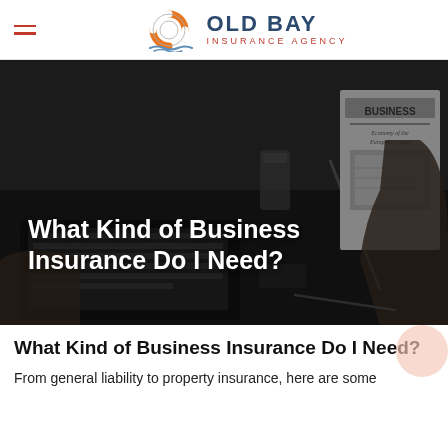[Figure (logo): Old Bay Insurance Agency logo with life preserver ring icon]
[Figure (photo): Black and white photo of a person at a desk with laptop, holding a Business newspaper. Overlay text reads 'What Kind of Business Insurance Do I Need?']
What Kind of Business Insurance Do I Need?
From general liability to property insurance, here are some